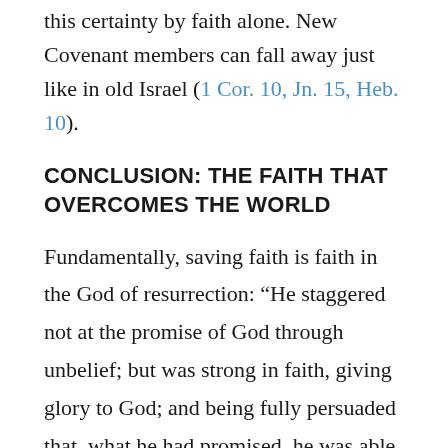this certainty by faith alone. New Covenant members can fall away just like in old Israel (1 Cor. 10, Jn. 15, Heb. 10).
CONCLUSION: THE FAITH THAT OVERCOMES THE WORLD
Fundamentally, saving faith is faith in the God of resurrection: “He staggered not at the promise of God through unbelief; but was strong in faith, giving glory to God; and being fully persuaded that, what he had promised, he was able to perform” (Rom. 4:19–21). The same faith was on display when God commanded him to sacrifice Isaac (Heb. 11:19). This was the faith that overcame the world through obedient deliverance and suffering